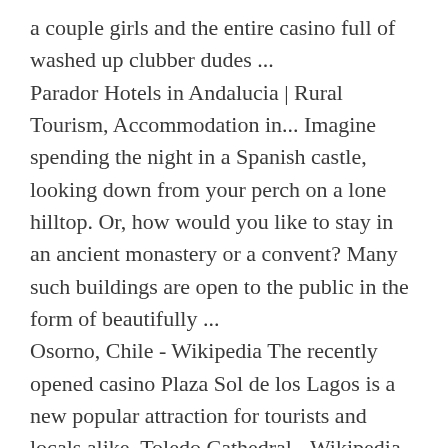a couple girls and the entire casino full of washed up clubber dudes ...
Parador Hotels in Andalucia | Rural Tourism, Accommodation in... Imagine spending the night in a Spanish castle, looking down from your perch on a lone hilltop. Or, how would you like to stay in an ancient monastery or a convent? Many such buildings are open to the public in the form of beautifully ...
Osorno, Chile - Wikipedia The recently opened casino Plaza Sol de los Lagos is a new popular attraction for tourists and locals alike. Toledo Cathedral - Wikipedia They proceeded to install a provisional altar and hung a bell in the minaret, following Christian custom to 'cast out the filthiness of the law of Mohammed'. [5] The priest Mariana writes that king Alfonso VI was so irritated by these ...